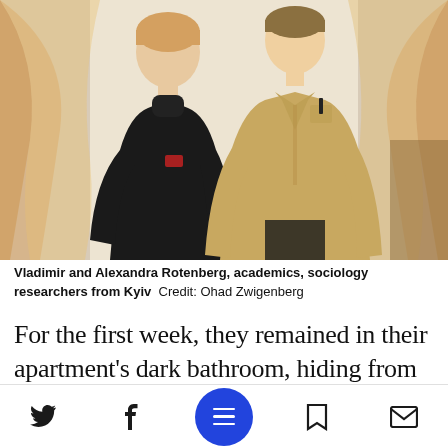[Figure (photo): Two people standing side by side indoors. On the left is a person wearing a dark black turtleneck/zip-up sweater. On the right is a person wearing a khaki/tan button-up shirt with a pen in the breast pocket. Warm curtains are visible in the background with natural window light.]
Vladimir and Alexandra Rotenberg, academics, sociology researchers from Kyiv  Credit: Ohad Zwigenberg
For the first week, they remained in their apartment's dark bathroom, hiding from the shelling. They chainsmoked and kept themselves updated by reading the news and